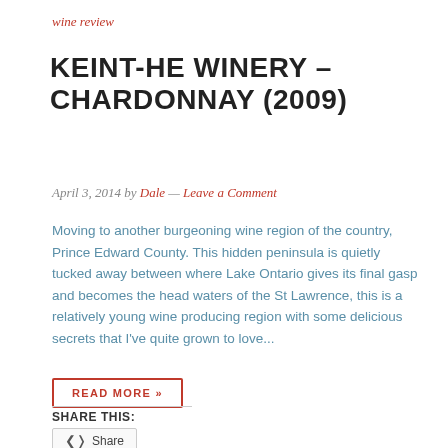wine review
KEINT-HE WINERY – CHARDONNAY (2009)
April 3, 2014 by Dale — Leave a Comment
Moving to another burgeoning wine region of the country, Prince Edward County. This hidden peninsula is quietly tucked away between where Lake Ontario gives its final gasp and becomes the head waters of the St Lawrence, this is a relatively young wine producing region with some delicious secrets that I've quite grown to love...
READ MORE »
SHARE THIS:
Share